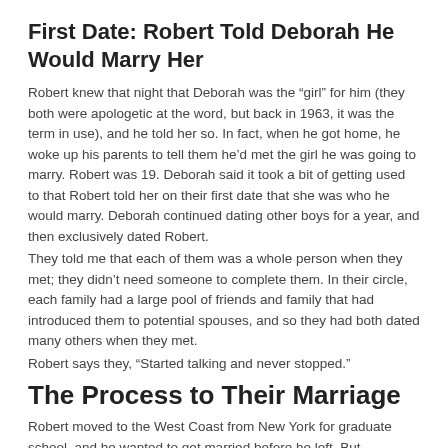First Date: Robert Told Deborah He Would Marry Her
Robert knew that night that Deborah was the “girl” for him (they both were apologetic at the word, but back in 1963, it was the term in use), and he told her so. In fact, when he got home, he woke up his parents to tell them he’d met the girl he was going to marry. Robert was 19. Deborah said it took a bit of getting used to that Robert told her on their first date that she was who he would marry. Deborah continued dating other boys for a year, and then exclusively dated Robert.
They told me that each of them was a whole person when they met; they didn’t need someone to complete them. In their circle, each family had a large pool of friends and family that had introduced them to potential spouses, and so they had both dated many others when they met.
Robert says they, “Started talking and never stopped.”
The Process to Their Marriage
Robert moved to the West Coast from New York for graduate school, and he wanted to get married before he left. But Deborah’s mother insisted they ...